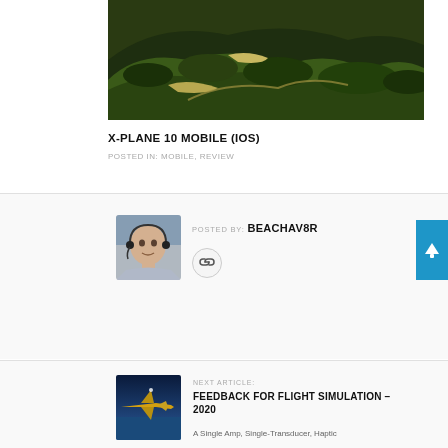[Figure (photo): Aerial landscape photo showing green mountains and terrain from flight simulator X-Plane 10]
X-PLANE 10 MOBILE (IOS)
POSTED IN: MOBILE, REVIEW
POSTED BY: BEACHAV8R
[Figure (photo): Author avatar photo of a man wearing headset in cockpit]
[Figure (other): Link/chain icon button]
NEXT ARTICLE:
[Figure (photo): Thumbnail image for next article about flight simulation feedback, showing aircraft]
FEEDBACK FOR FLIGHT SIMULATION – 2020
A Single Amp, Single-Transducer, Haptic